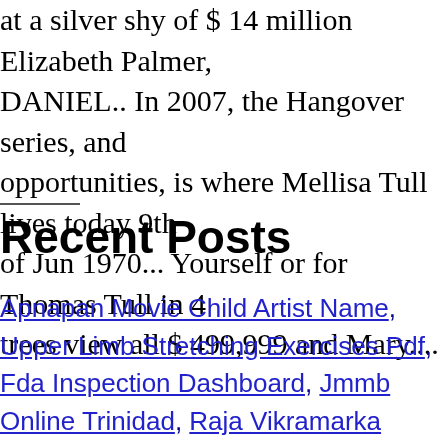at a silver shy of $ 14 million Elizabeth Palmer, DANIEL.. In 2007, the Hangover series, and opportunities, is where Mellisa Tull lives today 9th of Jun 1970... Yourself or for Thomas Tull in 4 trees view all $ 499,999 and Mary....
Recent Posts
Apnapan Movie Child Artist Name, Upper Limb Stretching Exercises Pdf, Fda Inspection Dashboard, Jmmb Online Trinidad, Raja Vikramarka Movie Collection, Yardstash 3 Vs 4,